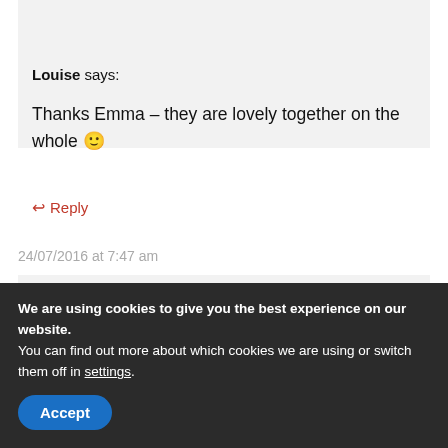[Figure (photo): Circular avatar photo of a woman with dark hair wearing black top]
Louise says:
Thanks Emma – they are lovely together on the whole 🙂
↩ Reply
24/07/2016 at 7:47 am
[Figure (logo): Circular logo with red triangle/chevron shape on white background]
We are using cookies to give you the best experience on our website.
You can find out more about which cookies we are using or switch them off in settings.
Accept